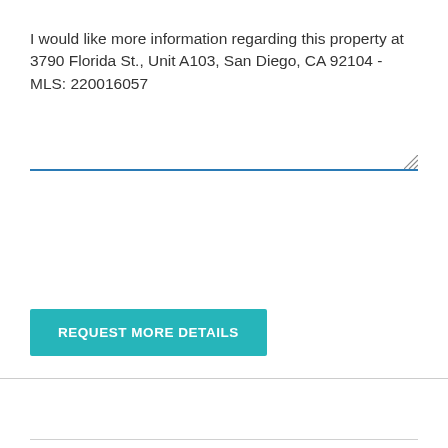I would like more information regarding this property at 3790 Florida St.,  Unit A103, San Diego, CA 92104 - MLS: 220016057
[Figure (other): Text input area with blue bottom border and resize icon]
REQUEST MORE DETAILS
This 3790 Florida St., San Diego, CA 92104 isn't just an address... but rather a potential home and part of a potential community to call home. When you search for 3790 Florida St. you most likely